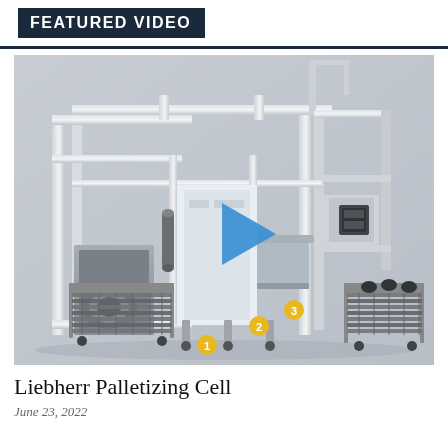FEATURED VIDEO
[Figure (photo): Industrial palletizing cell machine showing a large automated frame structure with numbered callout markers (1, 2, 3 in yellow circles), a blue play button overlay in the center, two wire rack carts on either side loaded with stacked trays, and various mechanical components. The machine is photographed against a light grey background.]
Liebherr Palletizing Cell
June 23, 2022